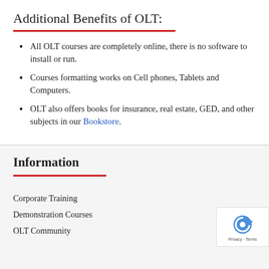Additional Benefits of OLT:
All OLT courses are completely online, there is no software to install or run.
Courses formatting works on Cell phones, Tablets and Computers.
OLT also offers books for insurance, real estate, GED, and other subjects in our Bookstore.
Information
Corporate Training
Demonstration Courses
OLT Community